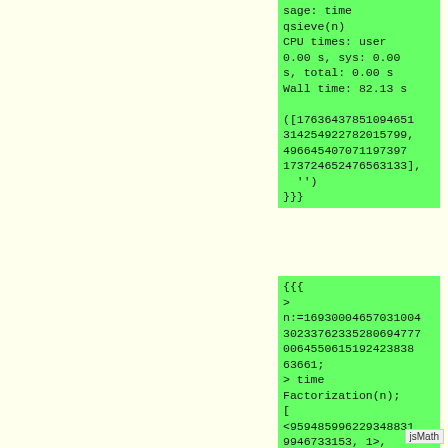sage: time qsieve(n)
CPU times: user 0.00 s, sys: 0.00 s, total: 0.00 s
Wall time: 82.13 s
([17636437851094651314254922782015799, 496645407071197397173724652476563133], '')
}}}
{{{
>
n:=16930004657031004302237623352806947770064550615192423838363661;
> time Factorization(n);
[
<959485996229348831 9946733153, 1>,